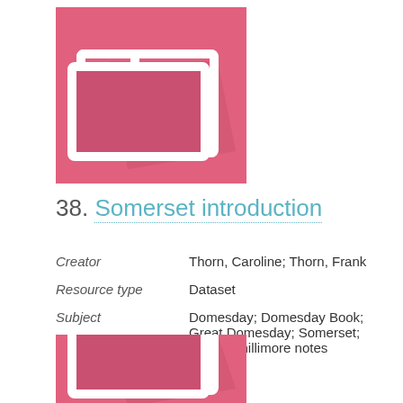[Figure (illustration): Pink/rose colored folder icon on pink background with shadow effect]
38. Somerset introduction
Creator: Thorn, Caroline; Thorn, Frank
Resource type: Dataset
Subject: Domesday; Domesday Book; Great Domesday; Somerset; Notes; Phillimore notes
Language: English
[Figure (illustration): Bottom portion of another pink folder icon, partially visible]